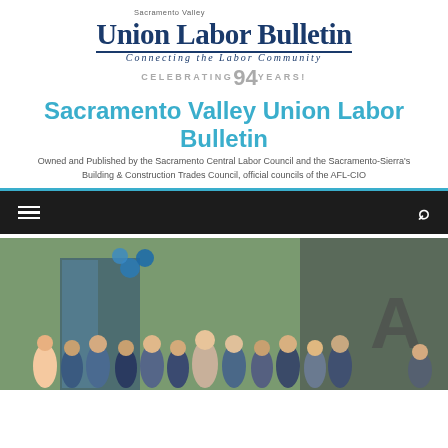Sacramento Valley Union Labor Bulletin — Connecting the Labor Community — CELEBRATING 94 YEARS!
Sacramento Valley Union Labor Bulletin
Owned and Published by the Sacramento Central Labor Council and the Sacramento-Sierra's Building & Construction Trades Council, official councils of the AFL-CIO
[Figure (photo): Group photo of people standing outside a building with blue balloons, in front of a building with a large letter A visible]